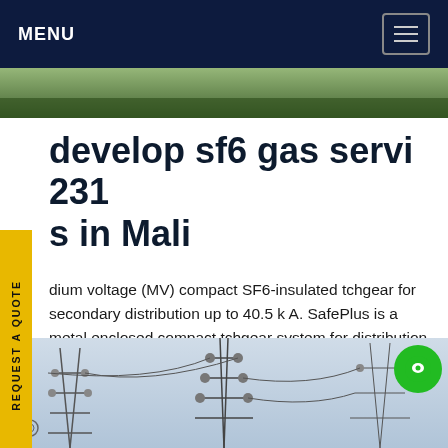MENU
[Figure (photo): Top image strip showing green foliage/outdoor scene]
develop sf6 gas servi 231 s in Mali
dium voltage (MV) compact SF6-insulated tchgear for secondary distribution up to 40.5 k A. SafePlus is a metal enclosed compact tchgear system for distribution applications up to 5 kV. The switchgear has a unique flexibility due to extendibility and the possible combination of fully dular and semi-modular configurations.Get price
[Figure (photo): Bottom image strip showing power transmission towers and electrical infrastructure against sky]